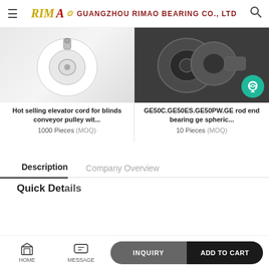GUANGZHOU RIMAO BEARING CO., LTD
[Figure (photo): White conveyor pulley with bolt, product card image for elevator cord / conveyor pulley]
Hot selling elevator cord for blinds conveyor pulley wit...
1000 Pieces (MOQ)
[Figure (photo): Dark metal rod end bearings GE50C GE50ES GE50PW, with teal customer support chat bubble icon overlay]
GE50C.GE50ES.GE50PW.GE rod end bearing ge spheric...
10 Pieces (MOQ)
Description
Company Overview
Quick Details
HOME  MESSAGE  INQUIRY  ADD TO CART